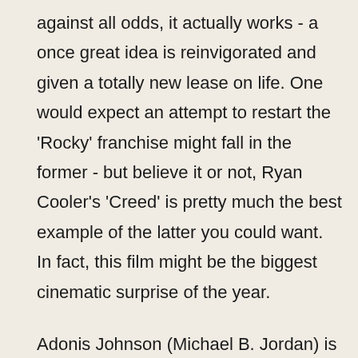against all odds, it actually works - a once great idea is reinvigorated and given a totally new lease on life. One would expect an attempt to restart the 'Rocky' franchise might fall in the former - but believe it or not, Ryan Cooler's 'Creed' is pretty much the best example of the latter you could want. In fact, this film might be the biggest cinematic surprise of the year.
Adonis Johnson (Michael B. Jordan) is an aspiring young boxer determined to make a name for himself. He also happens to be the illegitimate son of boxing legend Apollo Creed, who died during a